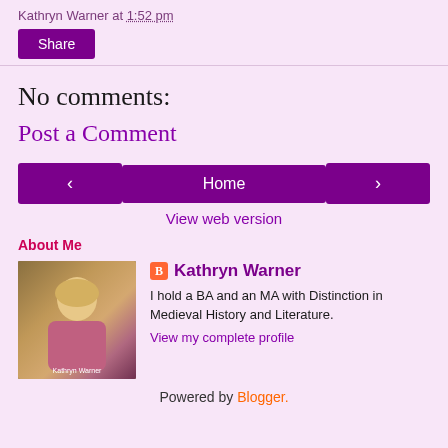Kathryn Warner at 1:52 pm
Share
No comments:
Post a Comment
< Home >
View web version
About Me
[Figure (photo): Profile photo of Kathryn Warner]
Kathryn Warner
I hold a BA and an MA with Distinction in Medieval History and Literature.
View my complete profile
Powered by Blogger.